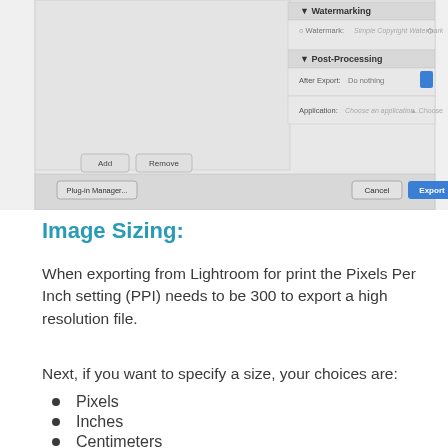[Figure (screenshot): Screenshot of Lightroom export dialog showing Watermarking and Post-Processing sections, with Add/Remove buttons and Cancel/Export buttons at the bottom.]
Image Sizing:
When exporting from Lightroom for print the Pixels Per Inch setting (PPI) needs to be 300 to export a high resolution file.
Next, if you want to specify a size, your choices are:
Pixels
Inches
Centimeters